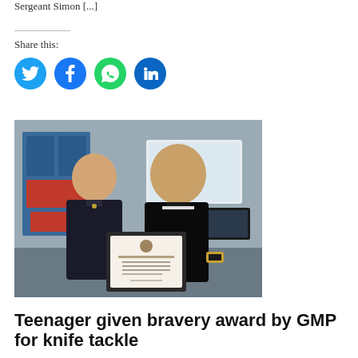Sergeant Simon [...]
Share this:
[Figure (other): Social media share icons: Twitter (blue), Facebook (dark blue), WhatsApp (green), LinkedIn (blue)]
[Figure (photo): Two men holding a framed award certificate. A police officer in uniform on the left smiling, and a young man in a black polo shirt on the right. Background shows a presentation screen reading 'Salford District Awards Pr...']
Teenager given bravery award by GMP for knife tackle